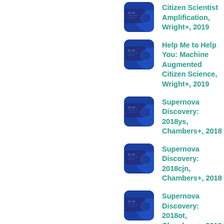Citizen Scientist Amplification, Wright+, 2019
Help Me to Help You: Machine Augmented Citizen Science, Wright+, 2019
Supernova Discovery: 2018ys, Chambers+, 2018
Supernova Discovery: 2018cjn, Chambers+, 2018
Supernova Discovery: 2018ot, Chambers+, 2018
Supernova Discovery: 2018clq, Chambers+, 2018